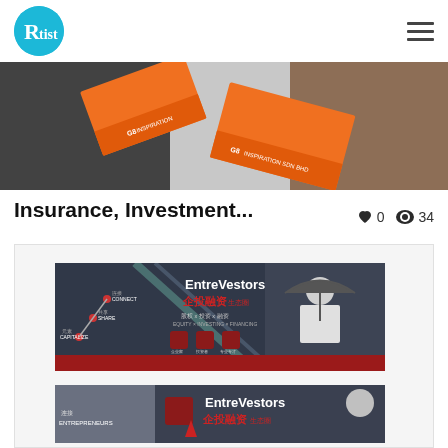Rtist logo and hamburger menu
[Figure (photo): Orange and dark business card / brochure fan-out design on marble background for G8 Inspiration Sdn Bhd]
Insurance, Investment...
0  34
[Figure (photo): EntreVestors 企投融资 生态圈 promotional banner with man holding umbrella in rain, featuring Connect/Share/Capitalize nodes and Entrepreneurs/Investors/Professionals icons]
[Figure (photo): EntreVestors 企投融资 second banner partially visible at bottom]